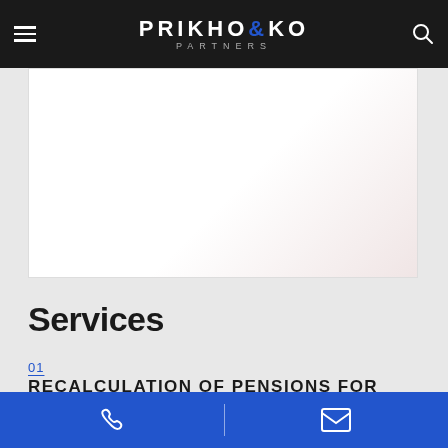PRIKHODKO & PARTNERS
[Figure (photo): White/light background hero image with faint reddish watermark or stain on the right side]
Services
01
RECALCULATION OF PENSIONS FOR MILITARY PERSONNEL
Phone and email contact icons on blue bar